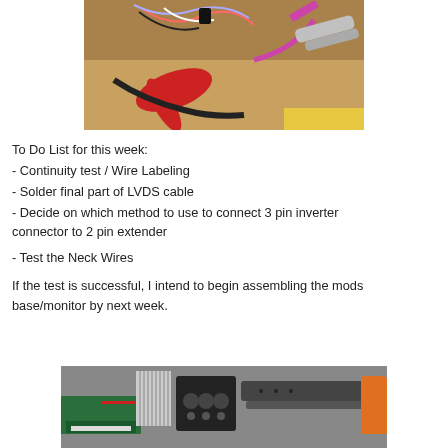[Figure (photo): Photo of electronics workbench with wires, pliers, red wire cutters, and soldering tools on a wooden surface]
To Do List for this week:
- Continuity test / Wire Labeling
- Solder final part of LVDS cable
- Decide on which method to use to connect 3 pin inverter connector to 2 pin extender
- Test the Neck Wires
If the test is successful, I intend to begin assembling the mods base/monitor by next week.
[Figure (photo): Photo of electronics components including circuit board, ribbon cables, black bracket, and tools on a workbench]